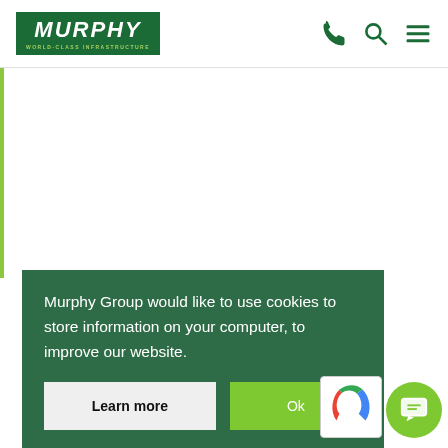[Figure (logo): Murphy Group logo — dark green background with white italic bold text MURPHY and green subtitle WORLD-CLASS INFRASTRUCTURE]
[Figure (illustration): Navigation icons: phone, search (magnifying glass), hamburger menu — all in dark green]
Murphy Group would like to use cookies to store information on your computer, to improve our website.
Learn more
Ok